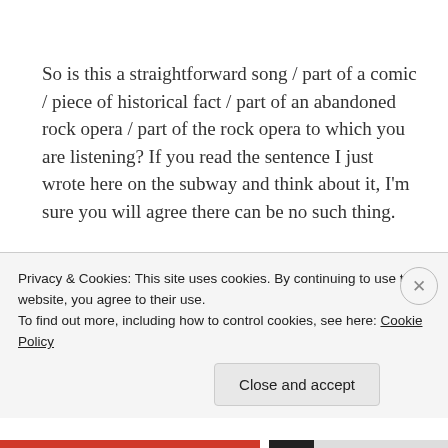So is this a straightforward song / part of a comic / piece of historical fact / part of an abandoned rock opera / part of the rock opera to which you are listening? If you read the sentence I just wrote here on the subway and think about it, I’m sure you will agree there can be no such thing.
And this is the crux of the entire matter, reader. The crux...
Privacy & Cookies: This site uses cookies. By continuing to use this website, you agree to their use.
To find out more, including how to control cookies, see here: Cookie Policy
Close and accept